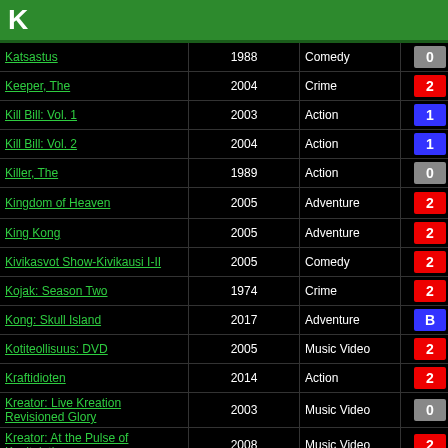K
| Title | Year | Genre | Discs | Notes |
| --- | --- | --- | --- | --- |
| Katsastus | 1988 | Comedy | 0 |  |
| Keeper, The | 2004 | Crime | 2 |  |
| Kill Bill: Vol. 1 | 2003 | Action | 1 |  |
| Kill Bill: Vol. 2 | 2004 | Action | 1 |  |
| Killer, The | 1989 | Action | 0 |  |
| Kingdom of Heaven | 2005 | Adventure | 2 | Deluxe edition |
| King Kong | 2005 | Adventure | 2 |  |
| Kivikasvot Show- Kivikausi I-II | 2005 | Comedy | 2 | 2 dis |
| Kojak: Season Two | 1974 | Crime | 2 | 6 dis |
| Kong: Skull Island | 2017 | Adventure | B | Blu-r |
| Kotiteollisuus: DVD | 2005 | Music Video | 2 |  |
| Kraftidioten | 2014 | Action | 2 |  |
| Kreator: Live Kreation Revisioned Glory | 2003 | Music Video | 0 | Deluxe edition |
| Kreator: At the Pulse of Kapitulation | 2008 | Music Video | 2 | DVD |
| Kreator: Dying Alive | 2013 | Music Video | 0 | DVD |
| Kung Fu Panda | 2008 | Animation | 2 |  |
| Kung Fu Panda 2 | 2011 | Animation | B | Blu-r |